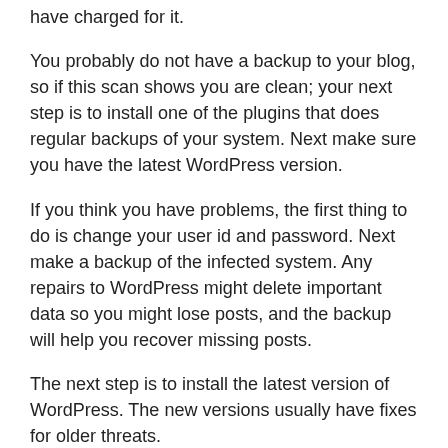have charged for it.
You probably do not have a backup to your blog, so if this scan shows you are clean; your next step is to install one of the plugins that does regular backups of your system. Next make sure you have the latest WordPress version.
If you think you have problems, the first thing to do is change your user id and password. Next make a backup of the infected system. Any repairs to WordPress might delete important data so you might lose posts, and the backup will help you recover missing posts.
The next step is to install the latest version of WordPress. The new versions usually have fixes for older threats.
You may want to export your WordPress posts, and do a complete reinstallation of WordPress and